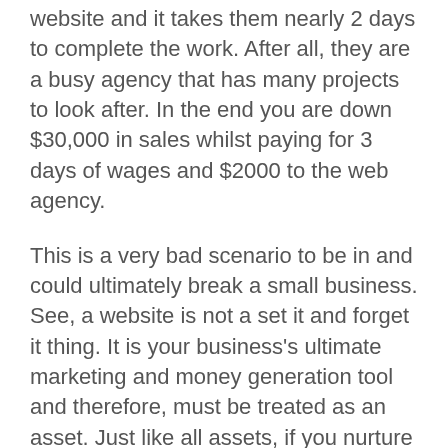website and it takes them nearly 2 days to complete the work. After all, they are a busy agency that has many projects to look after. In the end you are down $30,000 in sales whilst paying for 3 days of wages and $2000 to the web agency.
This is a very bad scenario to be in and could ultimately break a small business. See, a website is not a set it and forget it thing. It is your business's ultimate marketing and money generation tool and therefore, must be treated as an asset. Just like all assets, if you nurture them, they will pay you dividends. But ignore them and just assume they will always be assets, well, then they could cost you thousands.